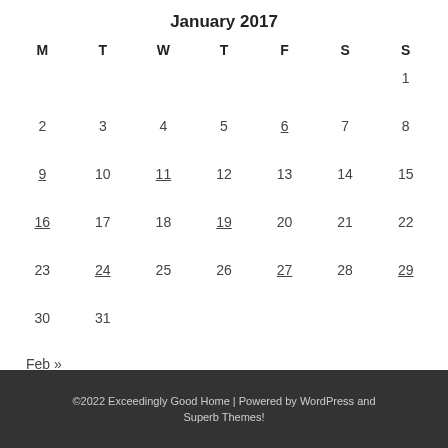January 2017
| M | T | W | T | F | S | S |
| --- | --- | --- | --- | --- | --- | --- |
|  |  |  |  |  |  | 1 |
| 2 | 3 | 4 | 5 | 6 | 7 | 8 |
| 9 | 10 | 11 | 12 | 13 | 14 | 15 |
| 16 | 17 | 18 | 19 | 20 | 21 | 22 |
| 23 | 24 | 25 | 26 | 27 | 28 | 29 |
| 30 | 31 |  |  |  |  |  |
Feb »
©2022 Exceedingly Good Home | Powered by WordPress and Superb Themes!